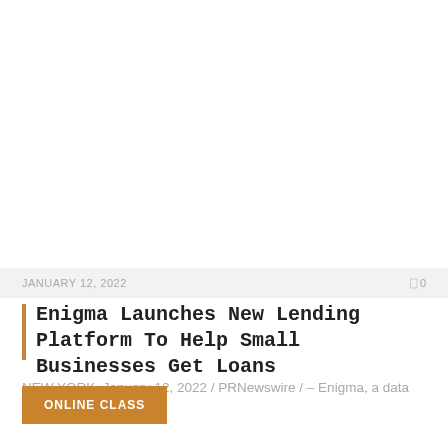JANUARY 12, 2022   0
Enigma Launches New Lending Platform To Help Small Businesses Get Loans
NEW YORK, January 12, 2022 / PRNewswire / – Enigma, a data science company that...
ONLINE CLASS